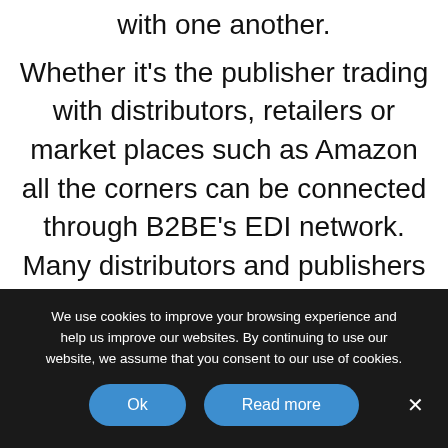with one another. Whether it's the publisher trading with distributors, retailers or market places such as Amazon all the corners can be connected through B2BE's EDI network. Many distributors and publishers also have different channels other than the bookshops such as large retail chains. These chains usually also have compliance requirements where EDI is
We use cookies to improve your browsing experience and help us improve our websites. By continuing to use our website, we assume that you consent to our use of cookies.